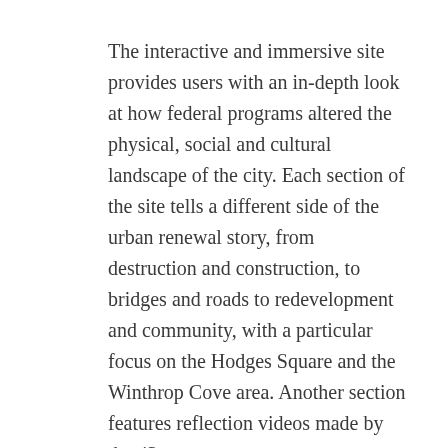The interactive and immersive site provides users with an in-depth look at how federal programs altered the physical, social and cultural landscape of the city. Each section of the site tells a different side of the urban renewal story, from destruction and construction, to bridges and roads to redevelopment and community, with a particular focus on the Hodges Square and the Winthrop Cove area. Another section features reflection videos made by the 43